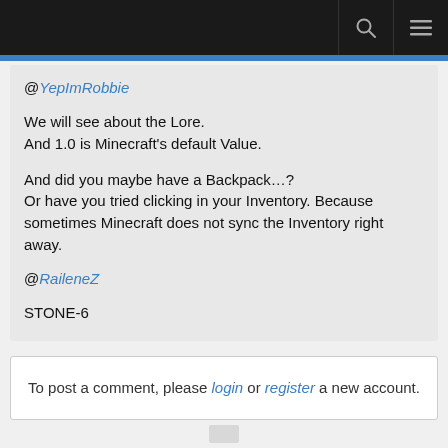Navigation bar with search and menu icons
@YepImRobbie

We will see about the Lore.
And 1.0 is Minecraft's default Value.

And did you maybe have a Backpack…?
Or have you tried clicking in your Inventory. Because sometimes Minecraft does not sync the Inventory right away.

@RaileneZ

STONE-6
To post a comment, please login or register a new account.